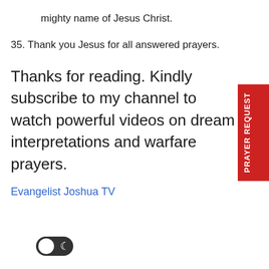mighty name of Jesus Christ.
35. Thank you Jesus for all answered prayers.
Thanks for reading. Kindly subscribe to my channel to watch powerful videos on dream interpretations and warfare prayers.
Evangelist Joshua TV
[Figure (other): Dark mode toggle switch with moon icon]
PRAYER REQUEST